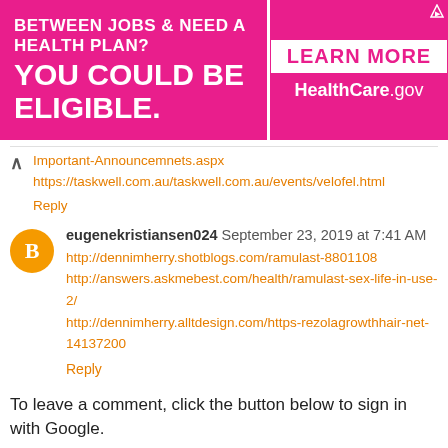[Figure (other): Advertisement banner: 'BETWEEN JOBS & NEED A HEALTH PLAN? YOU COULD BE ELIGIBLE. LEARN MORE HealthCare.gov' on pink/magenta background]
Important-Announcemnets.aspx
https://taskwell.com.au/taskwell.com.au/events/velofel.html
Reply
eugenekristiansen024  September 23, 2019 at 7:41 AM
http://dennimherry.shotblogs.com/ramulast-8801108
http://answers.askmebest.com/health/ramulast-sex-life-in-use-2/
http://dennimherry.alltdesign.com/https-rezolagrowthhair-net-14137200
Reply
To leave a comment, click the button below to sign in with Google.
SIGN IN WITH GOOGLE